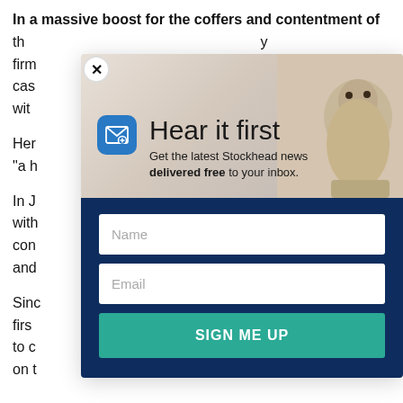In a massive boost for the coffers and contentment of the [text continues behind modal] y firm cas wit
Her [text continues] s it "a h
In J with con v and
Sinc firs y – to c cus on t en
[Figure (screenshot): Newsletter signup modal popup with 'Hear it first' heading, email icon, marmot/groundhog photo background, Name and Email input fields, and a 'SIGN ME UP' button on dark blue background]